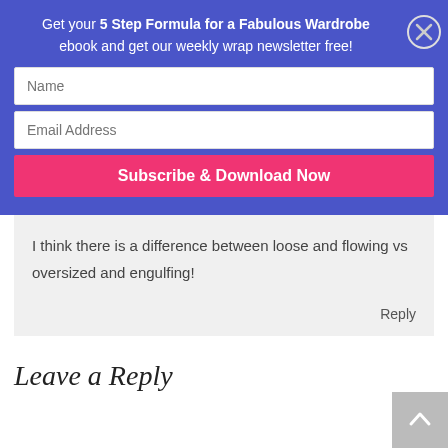Get your 5 Step Formula for a Fabulous Wardrobe ebook and get our weekly wrap newsletter free!
Name
Email Address
Subscribe & Download Now
I think there is a difference between loose and flowing vs oversized and engulfing!
Reply
Leave a Reply